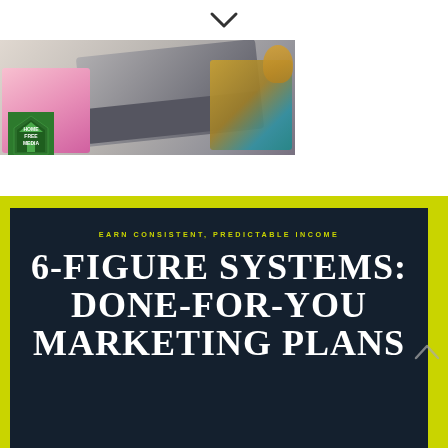[Figure (illustration): Chevron/down-arrow icon centered at top of page]
[Figure (photo): Desk flatlay photo showing a laptop, colorful planner/journal, gold accessories, and a green 'Home Free Media' logo badge in the lower-left corner]
[Figure (infographic): Yellow-bordered dark navy card with yellow small-caps subtitle 'EARN CONSISTENT, PREDICTABLE INCOME' and large white serif bold title '6-FIGURE SYSTEMS: DONE-FOR-YOU MARKETING PLANS']